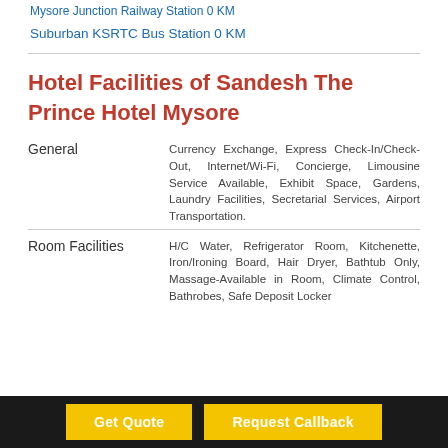Mysore Junction Railway Station 0 KM
Suburban KSRTC Bus Station 0 KM
Hotel Facilities of Sandesh The Prince Hotel Mysore
| Category | Facilities |
| --- | --- |
| General | Currency Exchange, Express Check-In/Check-Out, Internet/Wi-Fi, Concierge, Limousine Service Available, Exhibit Space, Gardens, Laundry Facilities, Secretarial Services, Airport Transportation. |
| Room Facilities | H/C Water, Refrigerator Room, Kitchenette, Iron/Ironing Board, Hair Dryer, Bathtub Only, Massage-Available in Room, Climate Control, Bathrobes, Safe Deposit Locker |
Get Quote
Request Callback